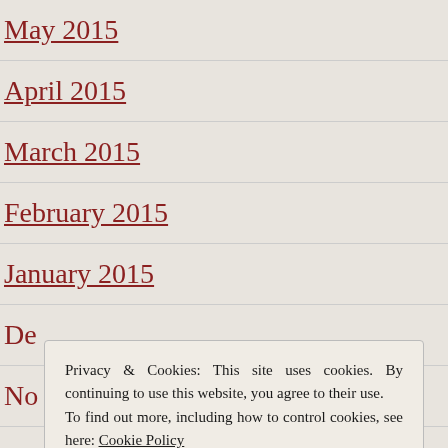May 2015
April 2015
March 2015
February 2015
January 2015
De[cember 2014]
No[vember 2014]
Oc[tober 2014]
Se[ptember 2014]
August 2014
Privacy & Cookies: This site uses cookies. By continuing to use this website, you agree to their use. To find out more, including how to control cookies, see here: Cookie Policy
Close and accept